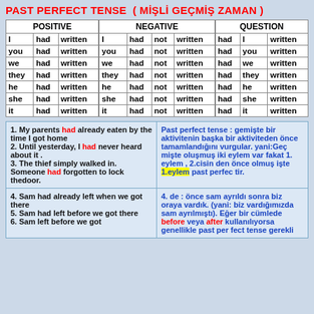PAST PERFECT TENSE  ( MİŞLİ GEÇMİŞ ZAMAN )
| POSITIVE |  |  | NEGATIVE |  |  |  | QUESTION |  |  |
| --- | --- | --- | --- | --- | --- | --- | --- | --- | --- |
| I | had | written | I | had | not | written | had | I | written |
| you | had | written | you | had | not | written | had | you | written |
| we | had | written | we | had | not | written | had | we | written |
| they | had | written | they | had | not | written | had | they | written |
| he | had | written | he | had | not | written | had | he | written |
| she | had | written | she | had | not | written | had | she | written |
| it | had | written | it | had | not | written | had | it | written |
1. My parents had already eaten by the time I got home
2. Until yesterday, I had never heard about it .
3. The thief simply walked in. Someone had forgotten to lock thedoor.
Past perfect tense : gemişte bir aktivitenin başka bir aktiviteden önce tamamlandığını vurgular. yani:Geç mişte oluşmuş iki eylem var fakat 1. eylem , 2.cisin den önce olmuş işte 1.eylem past perfec tir.
4. Sam had already left when we got there
5. Sam had left before we got there
6. Sam left before we got
4. de : önce sam ayrıldı sonra biz oraya vardık. (yani: biz vardığımızda sam ayrılmıştı). Eğer bir cümlede before veya after kullanılıyorsa genellikle past per fect tense gerekli